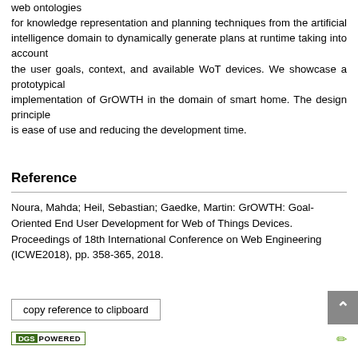web ontologies for knowledge representation and planning techniques from the artificial intelligence domain to dynamically generate plans at runtime taking into account the user goals, context, and available WoT devices. We showcase a prototypical implementation of GrOWTH in the domain of smart home. The design principle is ease of use and reducing the development time.
Reference
Noura, Mahda; Heil, Sebastian; Gaedke, Martin: GrOWTH: Goal-Oriented End User Development for Web of Things Devices. Proceedings of 18th International Conference on Web Engineering (ICWE2018), pp. 358-365, 2018.
copy reference to clipboard